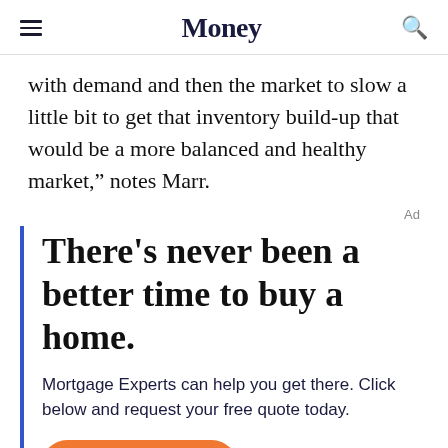Money
with demand and then the market to slow a little bit to get that inventory build-up that would be a more balanced and healthy market,” notes Marr.
Ad
There’s never been a better time to buy a home.
Mortgage Experts can help you get there. Click below and request your free quote today.
GET STARTED